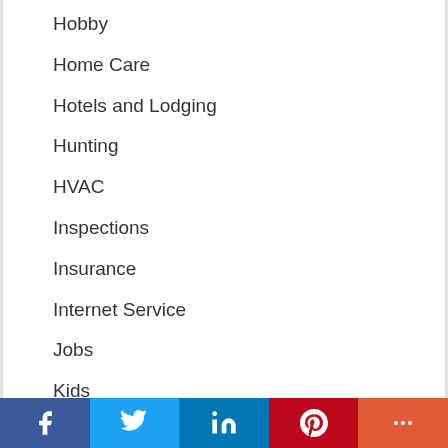Hobby
Home Care
Hotels and Lodging
Hunting
HVAC
Inspections
Insurance
Internet Service
Jobs
Kids
Kitchens
Landscaping
Law Offices
Lawncare
Facebook Twitter LinkedIn Pinterest More